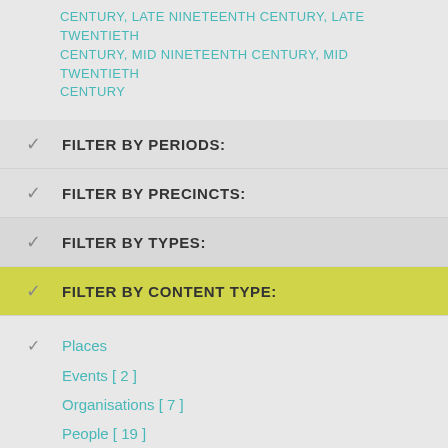CENTURY, LATE NINETEENTH CENTURY, LATE TWENTIETH CENTURY, MID NINETEENTH CENTURY, MID TWENTIETH CENTURY
✓  FILTER BY PERIODS:
✓  FILTER BY PRECINCTS:
✓  FILTER BY TYPES:
✓  FILTER BY CONTENT TYPE:
✓  Places
Events [ 2 ]
Organisations [ 7 ]
People [ 19 ]
Stories [ 1 ]
Subjects [ 46 ]
Things [ 1 ]